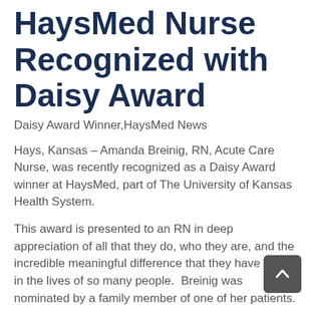HaysMed Nurse Recognized with Daisy Award
Daisy Award Winner,HaysMed News
Hays, Kansas – Amanda Breinig, RN, Acute Care Nurse, was recently recognized as a Daisy Award winner at HaysMed, part of The University of Kansas Health System.
This award is presented to an RN in deep appreciation of all that they do, who they are, and the incredible meaningful difference that they have made in the lives of so many people.  Breinig was nominated by a family member of one of her patients.
Breinig was selected from a group of